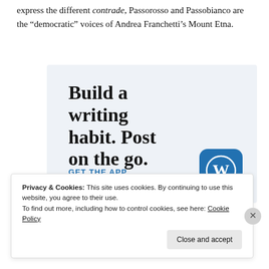express the different contrade, Passorosso and Passobianco are the “democratic” voices of Andrea Franchetti’s Mount Etna.
[Figure (infographic): WordPress app advertisement with light blue background. Large serif text reads 'Build a writing habit. Post on the go.' with a blue 'GET THE APP' call-to-action link and the WordPress logo (W in circle) in the bottom right corner.]
Privacy & Cookies: This site uses cookies. By continuing to use this website, you agree to their use.
To find out more, including how to control cookies, see here: Cookie Policy
Close and accept